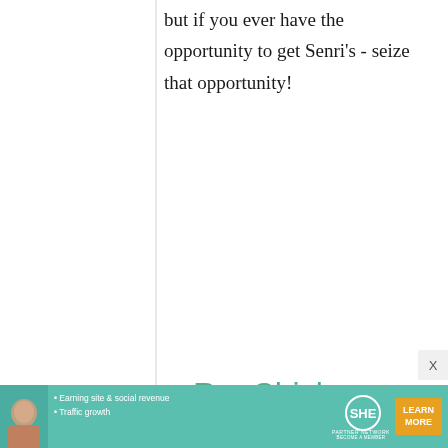but if you ever have the opportunity to get Senri's - seize that opportunity!
Grill Savvy
17 March, 2011 - 16:18
permalink
Re: Chicken Karaage: Japanese Fried Chicken
[Figure (screenshot): SHE Partner Network advertisement banner with woman photo, bullet points about earning site & social revenue and traffic growth, SHE logo, and Learn More button]